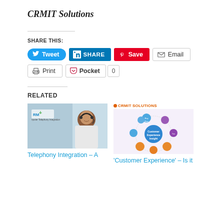CRMIT Solutions
SHARE THIS:
Tweet | SHARE | Save | Email
Print | Pocket 0
RELATED
[Figure (photo): Two related article thumbnails: 1) Telephony Integration image showing a woman with a headset and RM+ logo. 2) Customer Experience bubble diagram showing interconnected colored circles with 'Customer Experience Insight' in the center.]
Telephony Integration – A
'Customer Experience' – Is it